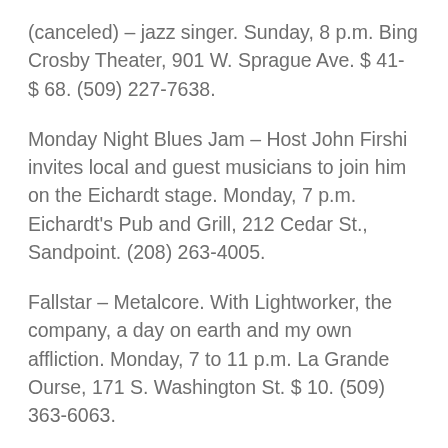(canceled) – jazz singer. Sunday, 8 p.m. Bing Crosby Theater, 901 W. Sprague Ave. $ 41- $ 68. (509) 227-7638.
Monday Night Blues Jam – Host John Firshi invites local and guest musicians to join him on the Eichardt stage. Monday, 7 p.m. Eichardt's Pub and Grill, 212 Cedar St., Sandpoint. (208) 263-4005.
Fallstar – Metalcore. With Lightworker, the company, a day on earth and my own affliction. Monday, 7 to 11 p.m. La Grande Ourse, 171 S. Washington St. $ 10. (509) 363-6063.